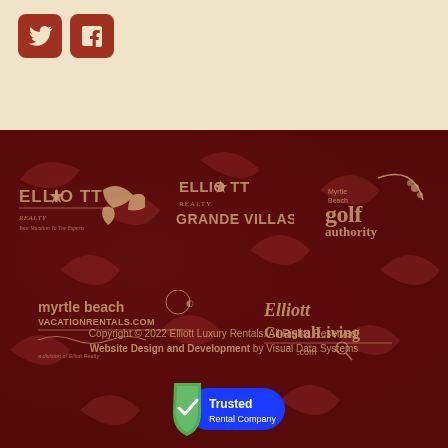[Figure (logo): Twitter and Facebook social media icons in red rounded squares]
[Figure (logo): Elliott Realty logo with sunburst icon]
[Figure (logo): Elliott Realty Grande Villas logo]
[Figure (logo): Myrtle Beach Golf Authority logo]
[Figure (logo): myrtle beach vacationrentals.com logo]
[Figure (logo): Elliott CoastalLiving.com logo]
Copyright © 2022 Elliott Luxury Rentals. All Rights Reserved.
Website Design and Development by Visual Data Systems
[Figure (logo): Trusted Rental Company badge with green shield and blue oval]